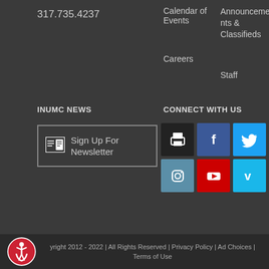317.735.4237
Calendar of Events
Announcements & Classifieds
Careers
Staff
INUMC NEWS
CONNECT WITH US
Sign Up For Newsletter
[Figure (infographic): Social media icon grid: print (dark), Facebook (blue), Twitter (light blue), Instagram (steel blue), YouTube (red), Vimeo (cyan)]
Copyright 2012 - 2022 | All Rights Reserved | Privacy Policy | Ad Choices | Terms of Use